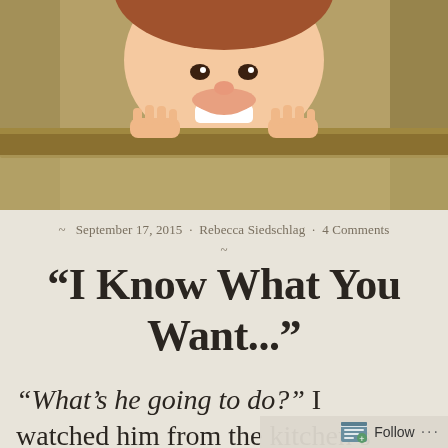[Figure (photo): Child peeking over a ledge, showing hands gripping the edge and smiling face just above, warm tan/olive background color]
~ September 17, 2015 · Rebecca Siedschlag · 4 Comments ~
“I Know What You Want...”
“What’s he going to do?” I watched him from the kitchen’s